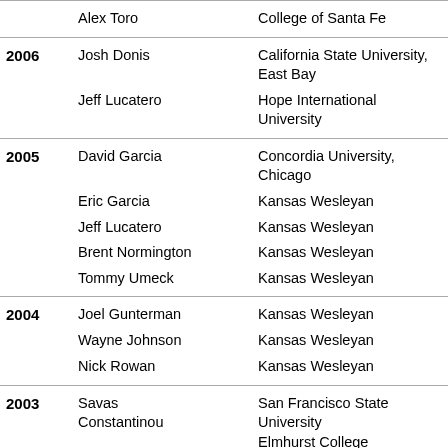| Year | Name | School |
| --- | --- | --- |
|  | Alex Toro | College of Santa Fe |
| 2006 | Josh Donis | California State University, East Bay |
|  | Jeff Lucatero | Hope International University |
| 2005 | David Garcia | Concordia University, Chicago |
|  | Eric Garcia | Kansas Wesleyan |
|  | Jeff Lucatero | Kansas Wesleyan |
|  | Brent Normington | Kansas Wesleyan |
|  | Tommy Umeck | Kansas Wesleyan |
| 2004 | Joel Gunterman | Kansas Wesleyan |
|  | Wayne Johnson | Kansas Wesleyan |
|  | Nick Rowan | Kansas Wesleyan |
| 2003 | Savas Constantinou | San Francisco State University |
|  |  | Elmhurst College |
|  | Tommy Gilbert |  |